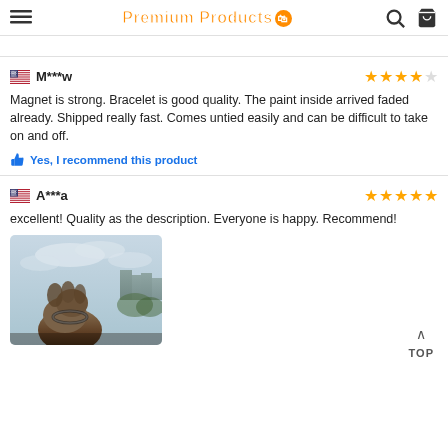Premium Products
M***w — 4 stars — Magnet is strong. Bracelet is good quality. The paint inside arrived faded already. Shipped really fast. Comes untied easily and can be difficult to take on and off. Yes, I recommend this product
A***a — 5 stars — excellent! Quality as the description. Everyone is happy. Recommend!
[Figure (photo): Hand holding a bracelet outdoors with city buildings in background]